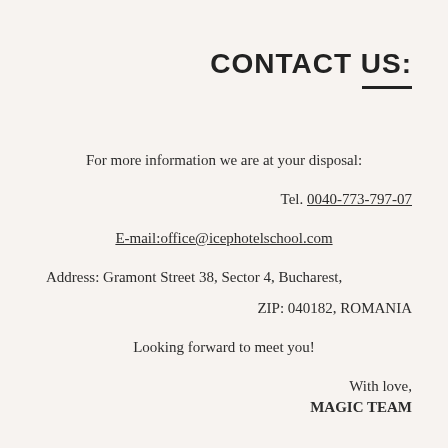CONTACT US:
For more information we are at your disposal:
Tel. 0040-773-797-07
E-mail:office@icephotelschool.com
Address: Gramont Street 38, Sector 4, Bucharest,
ZIP: 040182, ROMANIA
Looking forward to meet you!
With love,
MAGIC TEAM